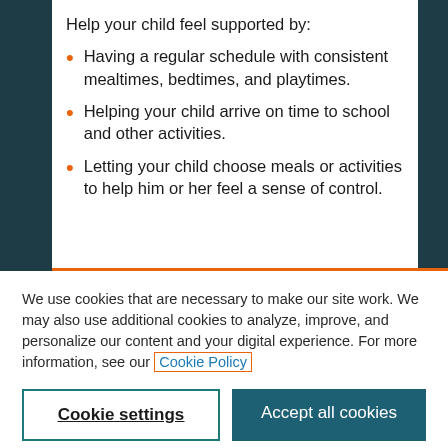Help your child feel supported by:
Having a regular schedule with consistent mealtimes, bedtimes, and playtimes.
Helping your child arrive on time to school and other activities.
Letting your child choose meals or activities to help him or her feel a sense of control.
We use cookies that are necessary to make our site work. We may also use additional cookies to analyze, improve, and personalize our content and your digital experience. For more information, see our Cookie Policy
Cookie settings
Accept all cookies